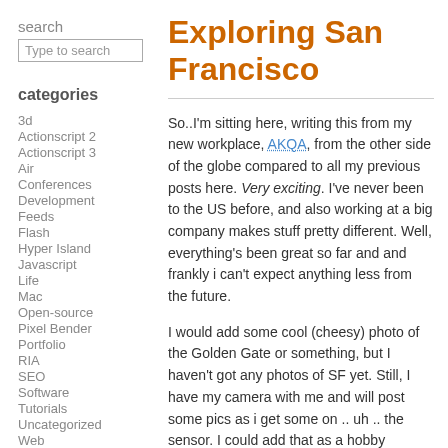search
Type to search
Exploring San Francisco
categories
3d
Actionscript 2
Actionscript 3
Air
Conferences
Development
Feeds
Flash
Hyper Island
Javascript
Life
Mac
Open-source
Pixel Bender
Portfolio
RIA
SEO
Software
Tutorials
Uncategorized
Web
So..I'm sitting here, writing this from my new workplace, AKQA, from the other side of the globe compared to all my previous posts here. Very exciting. I've never been to the US before, and also working at a big company makes stuff pretty different. Well, everything's been great so far and and frankly i can't expect anything less from the future.
I would add some cool (cheesy) photo of the Golden Gate or something, but I haven't got any photos of SF yet. Still, I have my camera with me and will post some pics as i get some on .. uh .. the sensor. I could add that as a hobby photographer the city is amazing. Loads and loads of cool districts. Add to that the cool cablecars, the hills, Alcatraz and the Golden Gate bridge you can't miss a typical postcard-